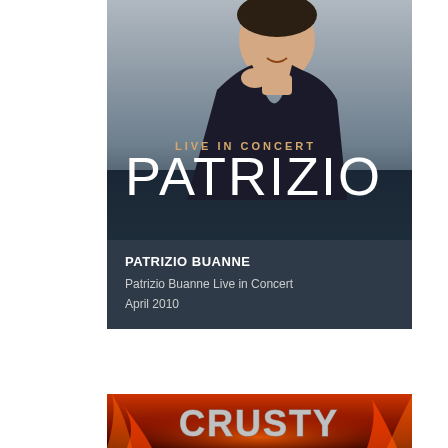[Figure (photo): Concert promotional poster for Patrizio Buanne Live in Concert. Upper portion shows a smiling man in a dark V-neck sweater against a grey gradient background. Text overlaid reads 'LIVE IN CONCERT' in small caps and 'PATRIZIO' in large white display font. Lower portion is a dark navy/slate background with text: 'PATRIZIO BUANNE' in bold white, 'Patrizio Buanne Live in Concert' and 'April 2010' in lighter grey text.]
[Figure (photo): Bottom portion of a promotional image showing the word 'CRUSTY' rendered in chrome/metallic 3D lettering surrounded by flames and fire effects in red and orange. Dark fantasy/metal aesthetic.]